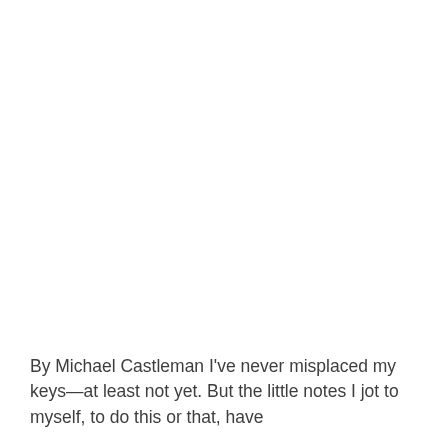By Michael Castleman I've never misplaced my keys—at least not yet. But the little notes I jot to myself, to do this or that, have